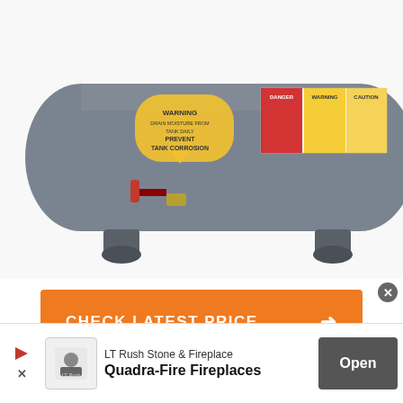[Figure (photo): Gray horizontal air compressor tank with warning label, safety stickers, red drain valve, brass fitting, and black rubber feet on stands]
CHECK LATEST PRICE →
See Customer Owner Feedback >>
[Figure (photo): DirectRelief advertisement banner: military helicopter scene with text ANYTIME. ANYWHERE. ANYONE IN NEED.]
LT Rush Stone & Fireplace
Quadra-Fire Fireplaces
Open